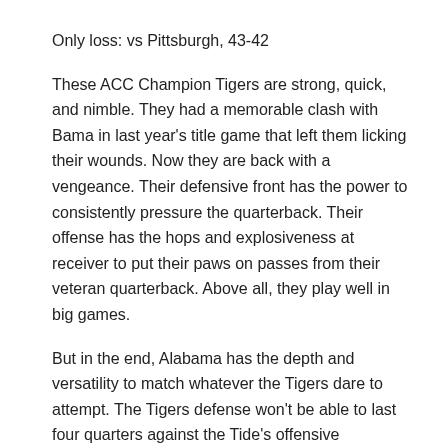Only loss: vs Pittsburgh, 43-42
These ACC Champion Tigers are strong, quick, and nimble. They had a memorable clash with Bama in last year's title game that left them licking their wounds. Now they are back with a vengeance. Their defensive front has the power to consistently pressure the quarterback. Their offense has the hops and explosiveness at receiver to put their paws on passes from their veteran quarterback. Above all, they play well in big games.
But in the end, Alabama has the depth and versatility to match whatever the Tigers dare to attempt. The Tigers defense won't be able to last four quarters against the Tide's offensive dynamos.